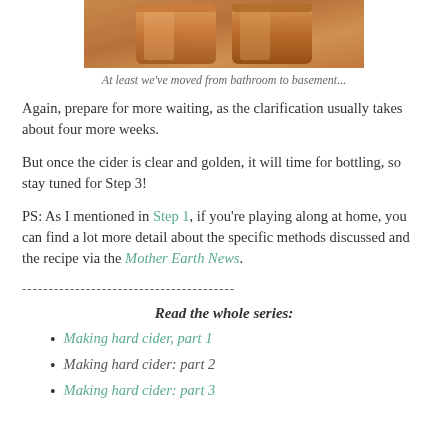[Figure (photo): Two glass jars containing amber/golden hard cider, viewed from above/side.]
At least we've moved from bathroom to basement...
Again, prepare for more waiting, as the clarification usually takes about four more weeks.
But once the cider is clear and golden, it will time for bottling, so stay tuned for Step 3!
PS: As I mentioned in Step 1, if you're playing along at home, you can find a lot more detail about the specific methods discussed and the recipe via the Mother Earth News.
----------------------------------------
Read the whole series:
Making hard cider, part 1
Making hard cider: part 2
Making hard cider: part 3